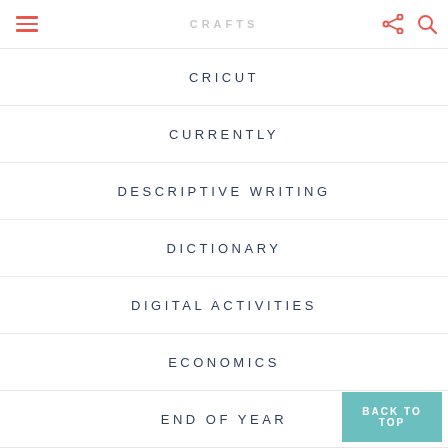CRAFTS
CRICUT
CURRENTLY
DESCRIPTIVE WRITING
DICTIONARY
DIGITAL ACTIVITIES
ECONOMICS
END OF YEAR
ENRICHMENT
FAIRYTALES
BACK TO TOP